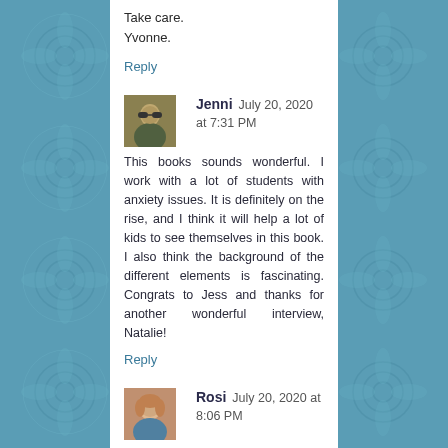Take care.
Yvonne.
Reply
Jenni  July 20, 2020 at 7:31 PM
This books sounds wonderful. I work with a lot of students with anxiety issues. It is definitely on the rise, and I think it will help a lot of kids to see themselves in this book. I also think the background of the different elements is fascinating. Congrats to Jess and thanks for another wonderful interview, Natalie!
Reply
Rosi  July 20, 2020 at 8:06 PM
I absolutely LOVED Miraculous and am really looking forward to Quintessence. It sounds terrific. I really enjoyed reading the interview